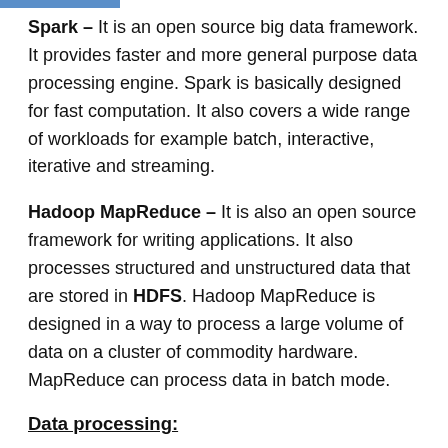Spark – It is an open source big data framework. It provides faster and more general purpose data processing engine. Spark is basically designed for fast computation. It also covers a wide range of workloads for example batch, interactive, iterative and streaming.
Hadoop MapReduce – It is also an open source framework for writing applications. It also processes structured and unstructured data that are stored in HDFS. Hadoop MapReduce is designed in a way to process a large volume of data on a cluster of commodity hardware. MapReduce can process data in batch mode.
Data processing:
Hadoop: Apache Hadoop provides batch processing. Hadoop developers a great deal in creating new algorithms and component stack to improve access to large scale batch processing.
MapReduce in Hadoop is a critical data processing engine